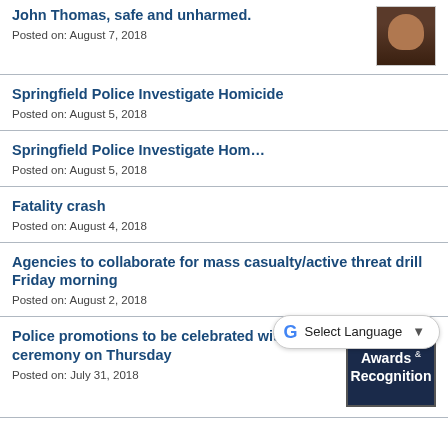John Thomas, safe and unharmed.
Posted on: August 7, 2018
Springfield Police Investigate Homicide
Posted on: August 5, 2018
Springfield Police Investigate Hom…
Posted on: August 5, 2018
Fatality crash
Posted on: August 4, 2018
Agencies to collaborate for mass casualty/active threat drill Friday morning
Posted on: August 2, 2018
Police promotions to be celebrated with ceremony on Thursday
Posted on: July 31, 2018
[Figure (photo): Headshot photo of John Thomas]
[Figure (illustration): Awards and Recognition badge/logo]